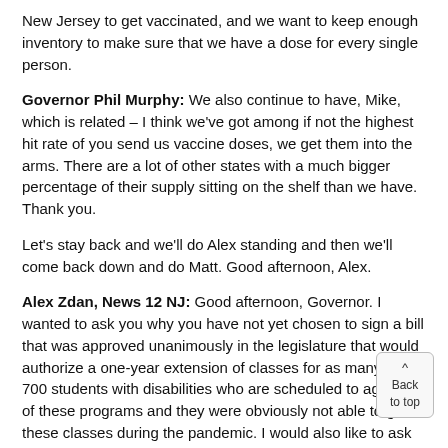New Jersey to get vaccinated, and we want to keep enough inventory to make sure that we have a dose for every single person.
Governor Phil Murphy: We also continue to have, Mike, which is related – I think we've got among if not the highest hit rate of you send us vaccine doses, we get them into the arms. There are a lot of other states with a much bigger percentage of their supply sitting on the shelf than we have. Thank you.
Let's stay back and we'll do Alex standing and then we'll come back down and do Matt. Good afternoon, Alex.
Alex Zdan, News 12 NJ: Good afternoon, Governor. I wanted to ask you why you have not yet chosen to sign a bill that was approved unanimously in the legislature that would authorize a one-year extension of classes for as many as 700 students with disabilities who are scheduled to age out of these programs and they were obviously not able to go to these classes during the pandemic. I would also like to ask Commissioner Persichilli, we were expecting guidance on camps today. Can you tell us what that is? Have you changed the masking mandate? For Dr. Lifshitz, what is the science behind masking children outdoors? Has the Department of Health documented a single case of COVID transmission